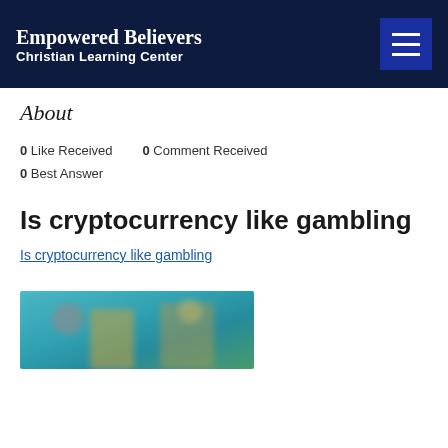Empowered Believers Christian Learning Center
About
0 Like Received  0 Comment Received
0 Best Answer
Is cryptocurrency like gambling
Is cryptocurrency like gambling
[Figure (photo): Blurred image of people, possibly a news or video thumbnail related to cryptocurrency topic]